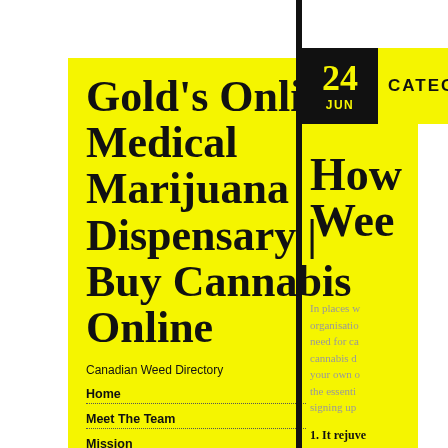Gold's Online Medical Marijuana Dispensary | Buy Cannabis Online
Canadian Weed Directory
Home
Meet The Team
Mission
24 JUN
CATEG
How Wee
In places w organisations need for ca cannabis d your own o the essenti signing up
1. It rejuve